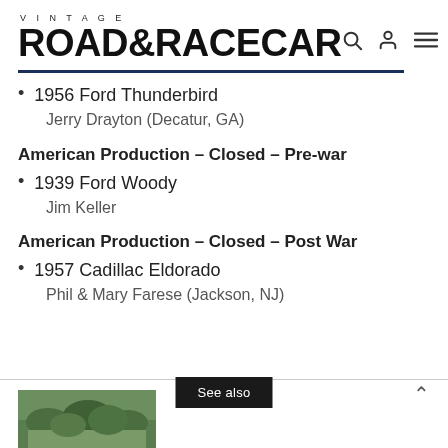VINTAGE ROAD & RACECAR
1956 Ford Thunderbird
Jerry Drayton (Decatur, GA)
American Production – Closed – Pre-war
1939 Ford Woody
Jim Keller
American Production – Closed – Post War
1957 Cadillac Eldorado
Phil & Mary Farese (Jackson, NJ)
See also
[Figure (photo): Thumbnail image of a green hedge or garden landscape]